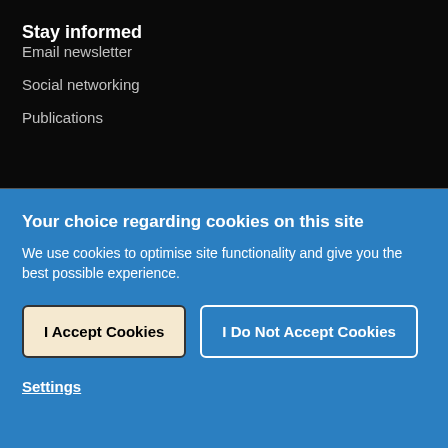Stay informed
Email newsletter
Social networking
Publications
Your choice regarding cookies on this site
We use cookies to optimise site functionality and give you the best possible experience.
I Accept Cookies
I Do Not Accept Cookies
Settings